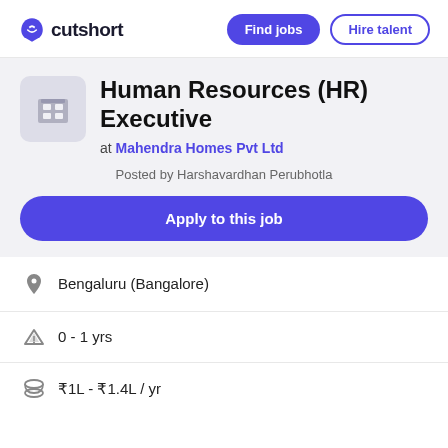cutshort | Find jobs | Hire talent
Human Resources (HR) Executive
at Mahendra Homes Pvt Ltd
Posted by Harshavardhan Perubhotla
Apply to this job
Bengaluru (Bangalore)
0 - 1 yrs
₹1L - ₹1.4L / yr